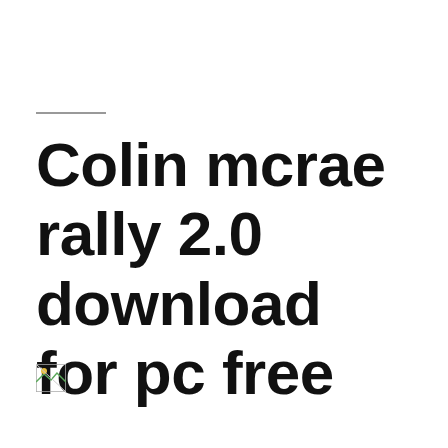Colin mcrae rally 2.0 download for pc free
[Figure (illustration): Broken/missing image icon (small thumbnail placeholder)]